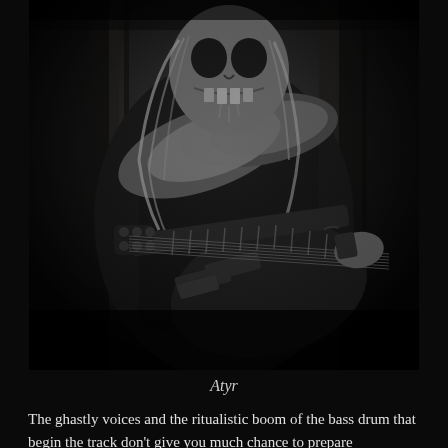[Figure (photo): Black and white photograph of a heavy metal musician wearing a horror/skull face mask with long blonde hair, dressed in a black t-shirt, playing an electric guitar. The image is dark and dramatic with a black background and wooden panel backdrop.]
Atyr
The ghastly voices and the ritualistic boom of the bass drum that begin the track don't give you much chance to prepare